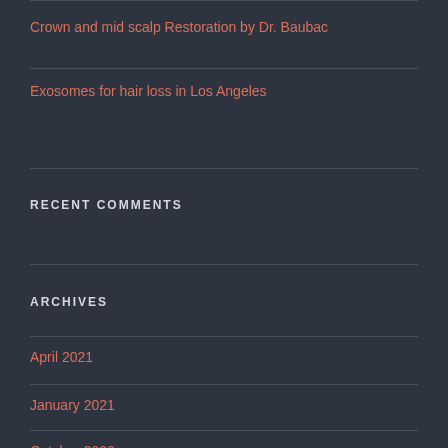Crown and mid scalp Restoration by Dr. Baubac
Exosomes for hair loss in Los Angeles
RECENT COMMENTS
ARCHIVES
April 2021
January 2021
October 2020